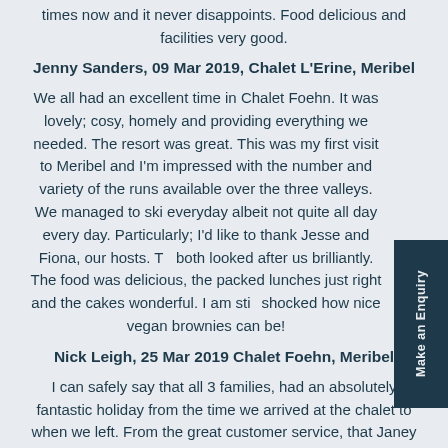times now and it never disappoints. Food delicious and facilities very good.
Jenny Sanders, 09 Mar 2019, Chalet L'Erine, Meribel
We all had an excellent time in Chalet Foehn. It was lovely; cosy, homely and providing everything we needed. The resort was great. This was my first visit to Meribel and I'm impressed with the number and variety of the runs available over the three valleys. We managed to ski everyday albeit not quite all day every day. Particularly; I'd like to thank Jesse and Fiona, our hosts. They both looked after us brilliantly. The food was delicious, the packed lunches just right and the cakes wonderful. I am still shocked how nice vegan brownies can be!
Nick Leigh, 25 Mar 2019 Chalet Foehn, Meribel
I can safely say that all 3 families, had an absolutely fantastic holiday from the time we arrived at the chalet to when we left. From the great customer service, that Janey afforded us while organising the holiday, to the face to face contact with you all